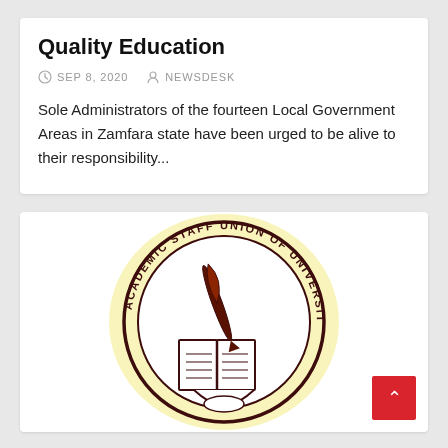Quality Education
SEP 8, 2020   NEWSDESK
Sole Administrators of the fourteen Local Government Areas in Zamfara state have been urged to be alive to their responsibility...
[Figure (logo): Academic Staff Union of Universities (ASUU) circular logo featuring a book and pen/quill, dark maroon/brown on white with yellow circular background glow. Text around the circle reads 'ACADEMIC STAFF UNION OF UNIVERSITIES'.]